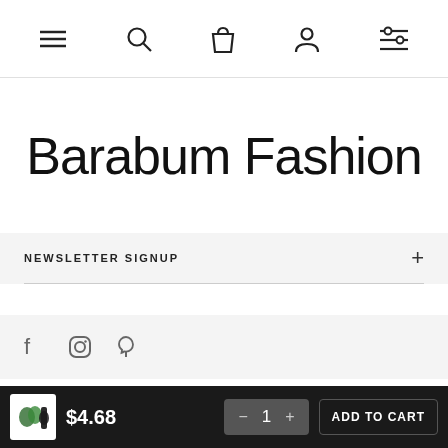Navigation bar with menu, search, cart, account, and filter icons
Barabum Fashion
NEWSLETTER SIGNUP
[Figure (other): Social media icons: Facebook, Instagram, Pinterest]
© Barabumfashion 2014-2020. All Rights Reserved
$4.68  −  1  +  ADD TO CART